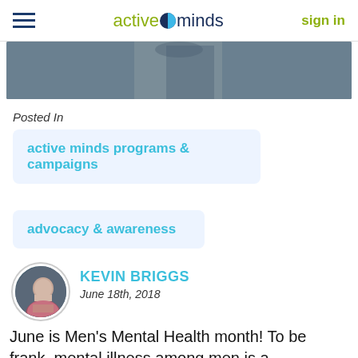active minds | sign in
[Figure (photo): Partial hero image showing a person in a dark jacket with arms crossed, cropped at top]
Posted In
active minds programs & campaigns
advocacy & awareness
[Figure (photo): Circular avatar photo of Kevin Briggs, a middle-aged man smiling, wearing a pinkish shirt]
KEVIN BRIGGS
June 18th, 2018
June is Men's Mental Health month! To be frank, mental illness among men is a